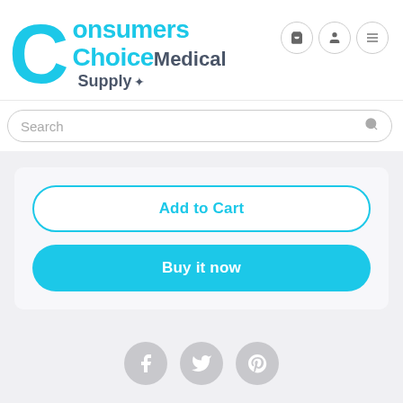[Figure (logo): Consumers Choice Medical Supply logo with cyan C letter and text]
Search
Add to Cart
Buy it now
[Figure (other): Social sharing icons: Facebook, Twitter, Pinterest]